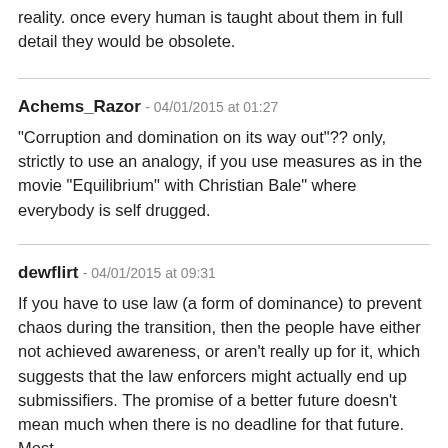reality. once every human is taught about them in full detail they would be obsolete.
Achems_Razor - 04/01/2015 at 01:27
"Corruption and domination on its way out"?? only, strictly to use an analogy, if you use measures as in the movie "Equilibrium" with Christian Bale" where everybody is self drugged.
dewflirt - 04/01/2015 at 09:31
If you have to use law (a form of dominance) to prevent chaos during the transition, then the people have either not achieved awareness, or aren't really up for it, which suggests that the law enforcers might actually end up submissifiers. The promise of a better future doesn't mean much when there is no deadline for that future. Most